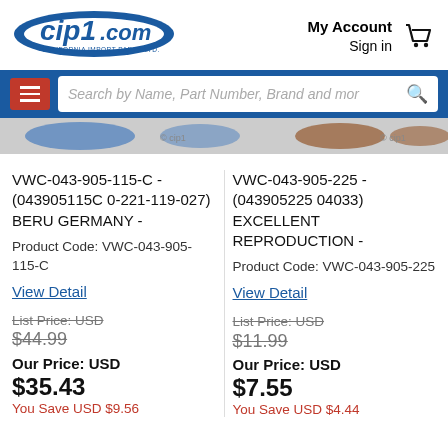[Figure (logo): cip1.com California Import Parts Ltd. logo with blue oval swoosh]
My Account
Sign in
Search by Name, Part Number, Brand and mor
[Figure (photo): Product images strip showing blue and brown colored parts]
VWC-043-905-115-C - (043905115C 0-221-119-027) BERU GERMANY -
Product Code: VWC-043-905-115-C
View Detail
List Price: USD $44.99
Our Price: USD $35.43
You Save USD $9.56
VWC-043-905-225 - (043905225 04033) EXCELLENT REPRODUCTION -
Product Code: VWC-043-905-225
View Detail
List Price: USD $11.99
Our Price: USD $7.55
You Save USD $4.44